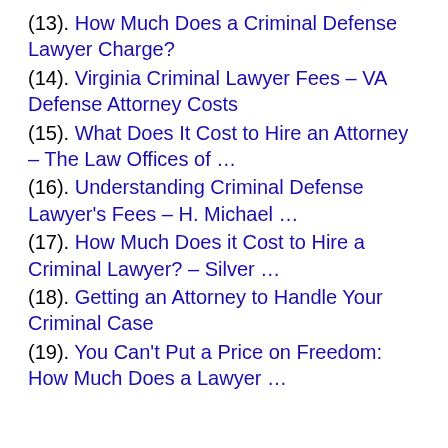(13). How Much Does a Criminal Defense Lawyer Charge?
(14). Virginia Criminal Lawyer Fees – VA Defense Attorney Costs
(15). What Does It Cost to Hire an Attorney – The Law Offices of …
(16). Understanding Criminal Defense Lawyer's Fees – H. Michael …
(17). How Much Does it Cost to Hire a Criminal Lawyer? – Silver …
(18). Getting an Attorney to Handle Your Criminal Case
(19). You Can't Put a Price on Freedom: How Much Does a Lawyer …